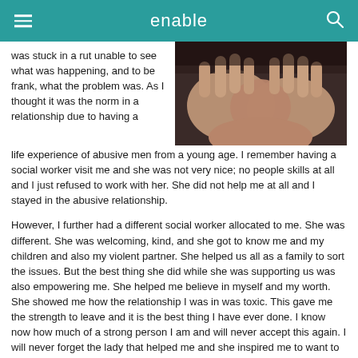enable
[Figure (photo): Close-up of two hands clasped together resting on a dark surface]
was stuck in a rut unable to see what was happening, and to be frank, what the problem was. As I thought it was the norm in a relationship due to having a life experience of abusive men from a young age. I remember having a social worker visit me and she was not very nice; no people skills at all and I just refused to work with her. She did not help me at all and I stayed in the abusive relationship.
However, I further had a different social worker allocated to me. She was different. She was welcoming, kind, and she got to know me and my children and also my violent partner. She helped us all as a family to sort the issues. But the best thing she did while she was supporting us was also empowering me. She helped me believe in myself and my worth. She showed me how the relationship I was in was toxic. This gave me the strength to leave and it is the best thing I have ever done. I know now how much of a strong person I am and will never accept this again. I will never forget the lady that helped me and she inspired me to want to be like her. Working with people to empower them as individuals.